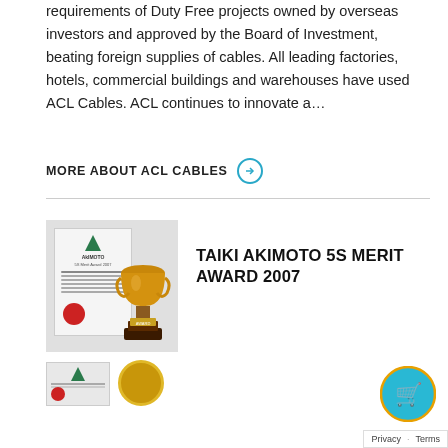requirements of Duty Free projects owned by overseas investors and approved by the Board of Investment, beating foreign supplies of cables. All leading factories, hotels, commercial buildings and warehouses have used ACL Cables. ACL continues to innovate a...
MORE ABOUT ACL CABLES →
[Figure (photo): Photo of Taiki Akimoto 5S Merit Award 2007 — a certificate document and a golden trophy statuette on a dark base]
TAIKI AKIMOTO 5S MERIT AWARD 2007
[Figure (photo): Partial view of another certificate and medal at bottom of page]
[Figure (other): Shopping cart icon button (cyan/blue circle with cart symbol)]
Privacy · Terms